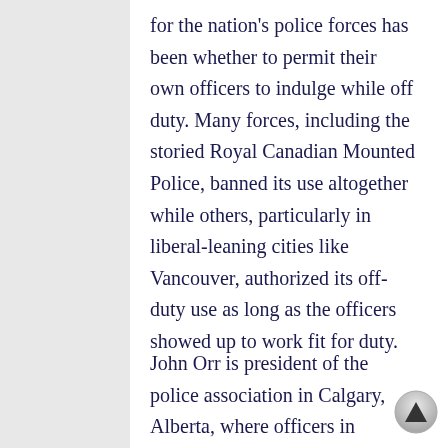for the nation's police forces has been whether to permit their own officers to indulge while off duty. Many forces, including the storied Royal Canadian Mounted Police, banned its use altogether while others, particularly in liberal-leaning cities like Vancouver, authorized its off-duty use as long as the officers showed up to work fit for duty.
John Orr is president of the police association in Calgary, Alberta, where officers in February won the